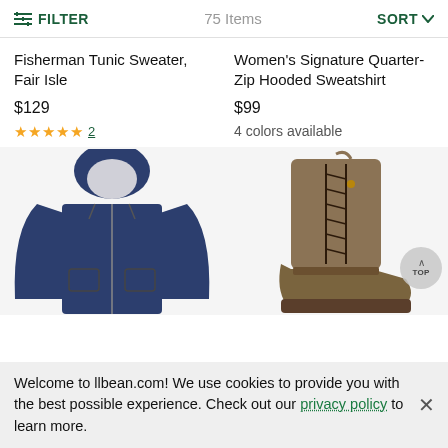FILTER  75 Items  SORT
Fisherman Tunic Sweater, Fair Isle
$129
★★★★★ 2
Women's Signature Quarter-Zip Hooded Sweatshirt
$99
4 colors available
[Figure (photo): Navy blue hooded zip sweatshirt/hoodie displayed on white background]
[Figure (photo): Tan/olive lace-up boot with brown leather trim displayed on white background]
Welcome to llbean.com! We use cookies to provide you with the best possible experience. Check out our privacy policy to learn more.